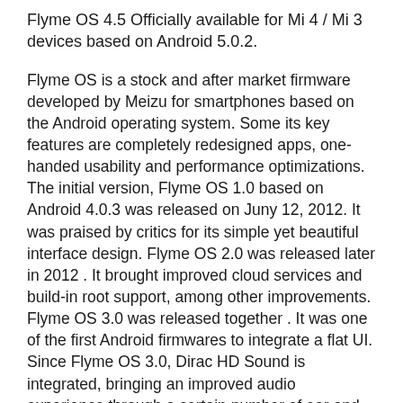Flyme OS 4.5 Officially available for Mi 4 / Mi 3 devices based on Android 5.0.2.
Flyme OS is a stock and after market firmware developed by Meizu for smartphones based on the Android operating system. Some its key features are completely redesigned apps, one-handed usability and performance optimizations. The initial version, Flyme OS 1.0 based on Android 4.0.3 was released on Juny 12, 2012. It was praised by critics for its simple yet beautiful interface design. Flyme OS 2.0 was released later in 2012 . It brought improved cloud services and build-in root support, among other improvements. Flyme OS 3.0 was released together . It was one of the first Android firmwares to integrate a flat UI. Since Flyme OS 3.0, Dirac HD Sound is integrated, bringing an improved audio experience through a certain number of ear and headphones. The successor the Flyme OS 3.0, Flyme OS 4.0 was released in 2014.The current version of Flyme OS, Flyme OS 4.5, is based on Android Lollipop.